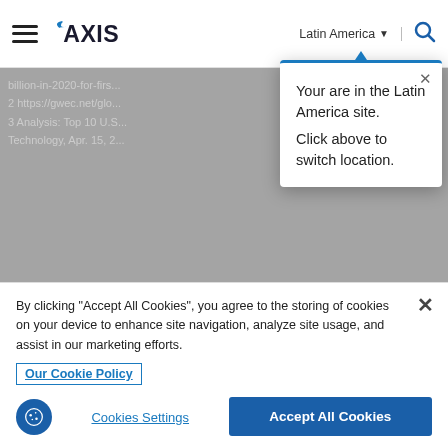AXIS | Latin America
billion-in-2020-for-firs...
2 https://gwec.net/glo...
3 Analysis: Top 10 U.S...
Technology, Apr. 15, 2...
Your are in the Latin America site. Click above to switch location.
Insurance
As a specialty insurer, our expertise runs deep —
By clicking "Accept All Cookies", you agree to the storing of cookies on your device to enhance site navigation, analyze site usage, and assist in our marketing efforts.
Our Cookie Policy
Cookies Settings
Accept All Cookies